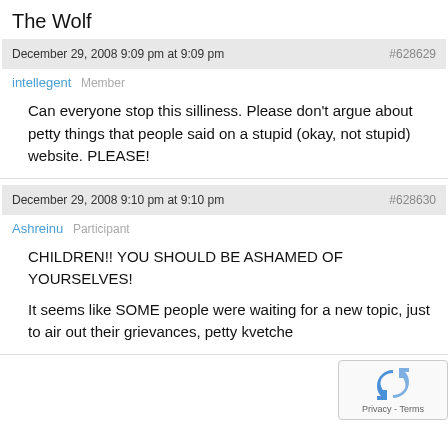The Wolf
December 29, 2008 9:09 pm at 9:09 pm   #628629
intellegent   Member
Can everyone stop this silliness. Please don't argue about petty things that people said on a stupid (okay, not stupid) website. PLEASE!
December 29, 2008 9:10 pm at 9:10 pm   #628630
Ashreinu   Participant
CHILDREN!! YOU SHOULD BE ASHAMED OF YOURSELVES!

It seems like SOME people were waiting for a new topic, just to air out their grievances, petty kvetche...